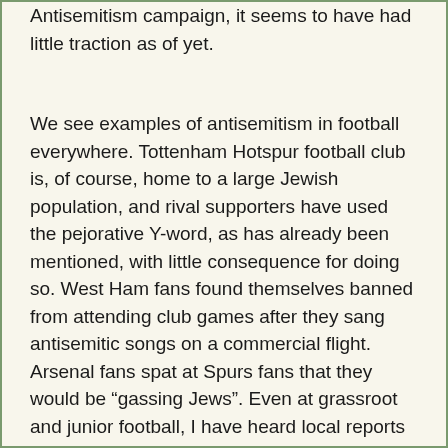Antisemitism campaign, it seems to have had little traction as of yet.
We see examples of antisemitism in football everywhere. Tottenham Hotspur football club is, of course, home to a large Jewish population, and rival supporters have used the pejorative Y-word, as has already been mentioned, with little consequence for doing so. West Ham fans found themselves banned from attending club games after they sang antisemitic songs on a commercial flight. Arsenal fans spat at Spurs fans that they would be “gassing Jews”. Even at grassroot and junior football, I have heard local reports from Maccabi of their Jewish players—some only seven years of age—being hissed at by players on the opposite side, replicating the noise of the gas chambers. I am sure that we can all agree that is truly shameful, shocking and